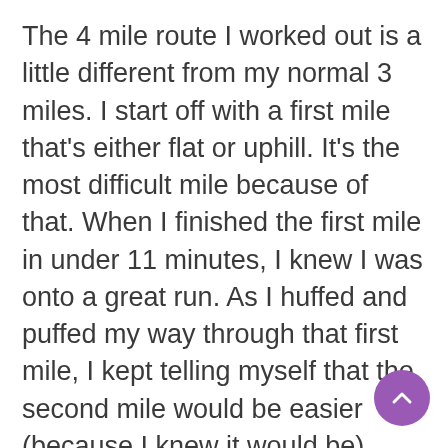The 4 mile route I worked out is a little different from my normal 3 miles. I start off with a first mile that's either flat or uphill. It's the most difficult mile because of that. When I finished the first mile in under 11 minutes, I knew I was onto a great run. As I huffed and puffed my way through that first mile, I kept telling myself that the second mile would be easier (because I knew it would be). Without having to switch my intervals, I was even able to finish 3 miles in under 32 minutes! Ah, the memories of my evening runs! The last half mile was a little slower. However, I finished in a time that made me very happy! It was nice to see a 10 at the front of my average pace again!